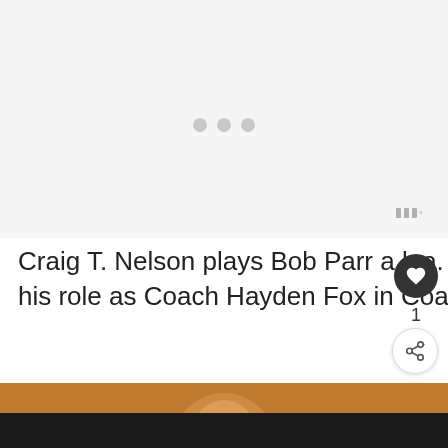[Figure (photo): Light gray placeholder image area with three loading dots in the center]
Craig T. Nelson plays Bob Parr a.k.a. Mr. Incredible He is also known for his role as Coach Hayden Fox in Coach!
[Figure (photo): Partial photo visible at bottom of page, warm orange/brown tones with dark bar overlay, appears to show a person's head]